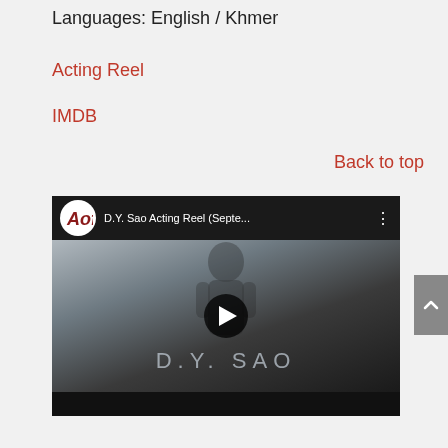Languages: English / Khmer
Acting Reel
IMDB
Back to top
[Figure (screenshot): YouTube video thumbnail showing D.Y. Sao Acting Reel (Septe...) with AOF channel logo, play button, and D.Y. SAO text overlay on a dark silhouette background]